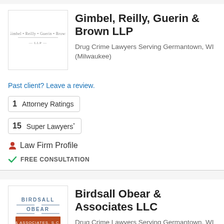[Figure (logo): Gimbel Reilly Guerin & Brown LLP law firm logo]
Gimbel, Reilly, Guerin & Brown LLP
Drug Crime Lawyers Serving Germantown, WI (Milwaukee)
Past client? Leave a review.
1  Attorney Ratings
15  Super Lawyers*
Law Firm Profile
FREE CONSULTATION
[Figure (logo): Birdsall Obear & Associates S.C. law firm logo]
Birdsall Obear & Associates LLC
Drug Crime Lawyers Serving Germantown, WI (Milwaukee)
Additional Office Locations